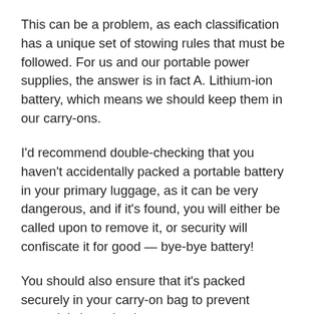This can be a problem, as each classification has a unique set of stowing rules that must be followed. For us and our portable power supplies, the answer is in fact A. Lithium-ion battery, which means we should keep them in our carry-ons.
I'd recommend double-checking that you haven't accidentally packed a portable battery in your primary luggage, as it can be very dangerous, and if it's found, you will either be called upon to remove it, or security will confiscate it for good — bye-bye battery!
You should also ensure that it's packed securely in your carry-on bag to prevent potential short circuits.
If you still have the retail packaging, you can use that as a protective enclosure, but it's not the end of the world if